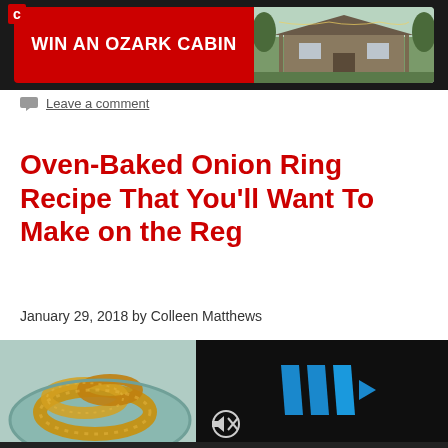[Figure (photo): Advertisement banner: red button reading 'WIN AN OZARK CABIN' on left, photo of a cabin on right, on dark background]
Leave a comment
Oven-Baked Onion Ring Recipe That You'll Want To Make on the Reg
January 29, 2018 by Colleen Matthews
[Figure (photo): Photo of oven-baked onion rings on a blue-green plate]
[Figure (screenshot): Video player with dark background showing a blue triangular logo/play button and mute icon]